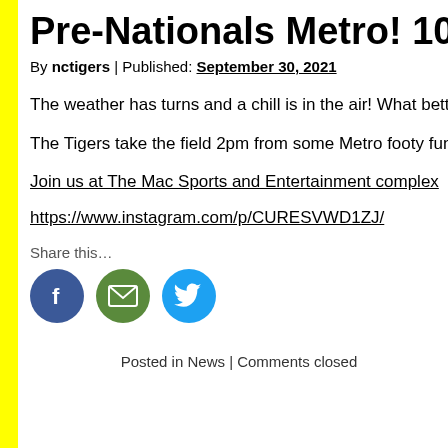Pre-Nationals Metro! 10/2, 2pm ball
By nctigers | Published: September 30, 2021
The weather has turns and a chill is in the air! What better ti
The Tigers take the field 2pm from some Metro footy fun!
Join us at The Mac Sports and Entertainment complex
https://www.instagram.com/p/CURESVWD1ZJ/
Share this…
[Figure (infographic): Social sharing icons: Facebook (blue circle), Email (green circle), Twitter (light blue circle)]
Posted in News | Comments closed